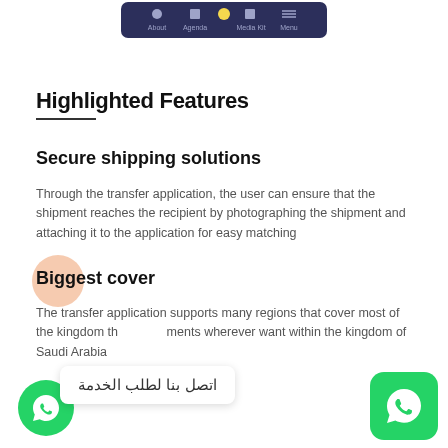[Figure (screenshot): Mobile app navigation bar showing About, Agenda, Media Kit, Menu tabs on dark background]
Highlighted Features
Secure shipping solutions
Through the transfer application, the user can ensure that the shipment reaches the recipient by photographing the shipment and attaching it to the application for easy matching
Biggest cover
The transfer application supports many regions that cover most of the kingdom th...ments wherever you want within the kingdom of Saudi Arabia
[Figure (screenshot): WhatsApp chat button on left side and WhatsApp icon on right side with Arabic tooltip text: اتصل بنا لطلب الخدمة]